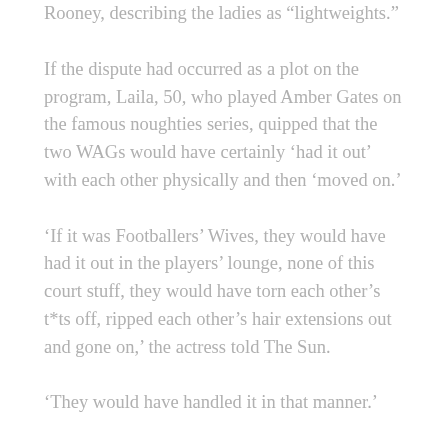Rooney, describing the ladies as “lightweights.”
If the dispute had occurred as a plot on the program, Laila, 50, who played Amber Gates on the famous noughties series, quipped that the two WAGs would have certainly ‘had it out’ with each other physically and then ‘moved on.’
‘If it was Footballers’ Wives, they would have had it out in the players’ lounge, none of this court stuff, they would have torn each other’s t*ts off, ripped each other’s hair extensions out and gone on,’ the actress told The Sun.
‘They would have handled it in that manner.’
‘To be honest, I believe Coleen and Rebekah are lightweights,’ she said.